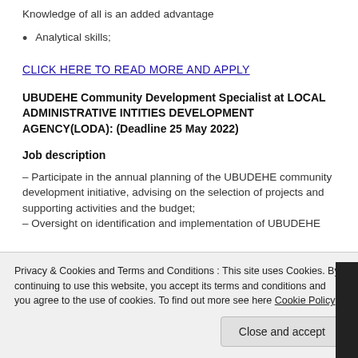Knowledge of all is an added advantage
Analytical skills;
CLICK HERE TO READ MORE AND APPLY
UBUDEHE Community Development Specialist at LOCAL ADMINISTRATIVE INTITIES DEVELOPMENT AGENCY(LODA): (Deadline 25 May 2022)
Job description
– Participate in the annual planning of the UBUDEHE community development initiative, advising on the selection of projects and supporting activities and the budget;
– Oversight on identification and implementation of UBUDEHE Household and Community projects in compliance with...
Privacy & Cookies and Terms and Conditions : This site uses Cookies. By continuing to use this website, you accept its terms and conditions and you agree to the use of cookies. To find out more see here Cookie Policy
Close and accept